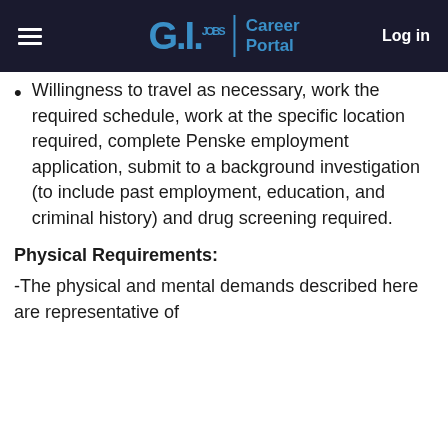G.I. Jobs | Career Portal   Log in
Willingness to travel as necessary, work the required schedule, work at the specific location required, complete Penske employment application, submit to a background investigation (to include past employment, education, and criminal history) and drug screening required.
Physical Requirements:
-The physical and mental demands described here are representative of